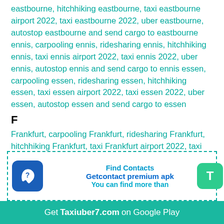eastbourne, hitchhiking eastbourne, taxi eastbourne airport 2022, taxi eastbourne 2022, uber eastbourne, autostop eastbourne and send cargo to eastbourne ennis, carpooling ennis, ridesharing ennis, hitchhiking ennis, taxi ennis airport 2022, taxi ennis 2022, uber ennis, autostop ennis and send cargo to ennis essen, carpooling essen, ridesharing essen, hitchhiking essen, taxi essen airport 2022, taxi essen 2022, uber essen, autostop essen and send cargo to essen
F
Frankfurt, carpooling Frankfurt, ridesharing Frankfurt, hitchhiking Frankfurt, taxi Frankfurt airport 2022, taxi Frankfurt 2022, uber Frankfurt, autostop Frankfurt and send cargo to Frankfurt firenze, carpooling firenze, ridesharing firenze, hitchhiking firenze, taxi firenze airport 2022, taxi firenze 2022, uber firenze, autostop firenze and send cargo to firenze
[Figure (infographic): A dashed-border box with a blue phone/question icon on the left, text 'Find Contacts', 'Getcontact premium apk', 'You can find more than' in teal/blue, and a green T button on the right.]
Get Taxiuber7.com on Google Play